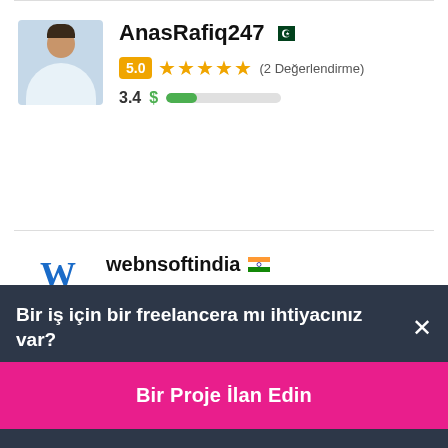AnasRafiq247 [PK flag]
5.0 ★★★★★ (2 Değerlendirme)
3.4 $ [progress bar]
webnsoftindia [IN flag]
₹10000 INR in 7 gün içinde
5.0 ★★★★★ (1 Yorum)
Bir iş için bir freelancera mı ihtiyacınız var? ×
Bir Proje İlan Edin